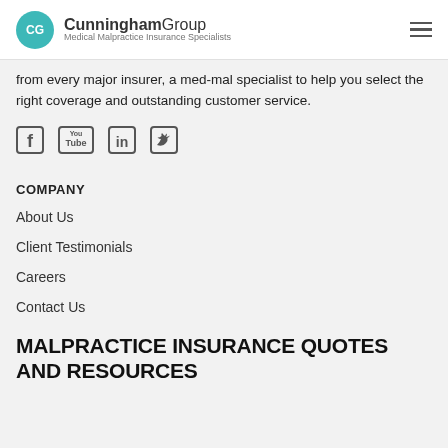CG Cunningham Group Medical Malpractice Insurance Specialists
from every major insurer, a med-mal specialist to help you select the right coverage and outstanding customer service.
[Figure (illustration): Social media icons: Facebook, YouTube, LinkedIn, Twitter]
COMPANY
About Us
Client Testimonials
Careers
Contact Us
MALPRACTICE INSURANCE QUOTES AND RESOURCES